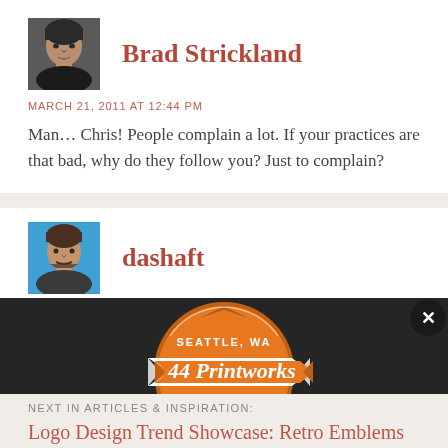[Figure (photo): Avatar photo of Brad Strickland, dark-toned headshot]
Brad Strickland
MARCH 21, 2011 AT 12:44 PM
Man… Chris! People complain a lot. If your practices are that bad, why do they follow you? Just to complain?
[Figure (photo): Avatar photo of dashaft, man with facial hair]
dashaft
MARCH 21, 2011 AT 12:59 PM
[Figure (logo): 44 Printworks advertisement banner. Dark background with orange badge/emblem design. Text: SEATTLE, WA / 44 Printworks / EST. 2010]
NEXT IN ARTICLES & INSPIRATION:
Logo Design Trend Showcase: Retro Emblems & Badges